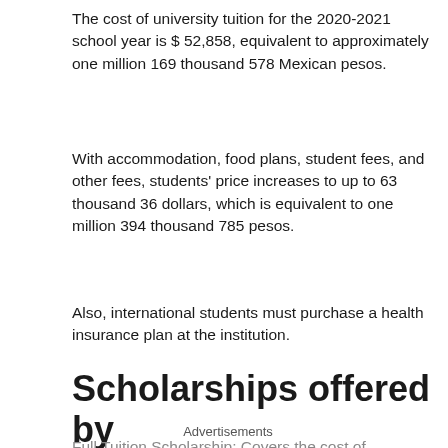The cost of university tuition for the 2020-2021 school year is $ 52,858, equivalent to approximately one million 169 thousand 578 Mexican pesos.
With accommodation, food plans, student fees, and other fees, students' price increases to up to 63 thousand 36 dollars, which is equivalent to one million 394 thousand 785 pesos.
Also, international students must purchase a health insurance plan at the institution.
Scholarships offered by Beloit College
Advertisements
Full Tuition Scholarship: Covers the cost of